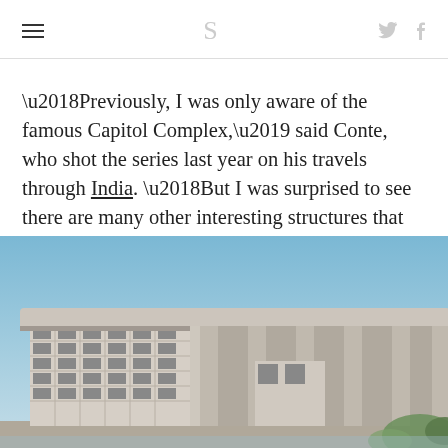S (logo with hamburger menu and social icons)
‘Previously, I was only aware of the famous Capitol Complex,’ said Conte, who shot the series last year on his travels through India. ‘But I was surprised to see there are many other interesting structures that are not [quite as] well known.’
[Figure (photo): Photograph of a large brutalist concrete building with a wide flat roof canopy and columnar supports, set against a clear blue sky. The structure features a grid-like facade with rectangular openings.]